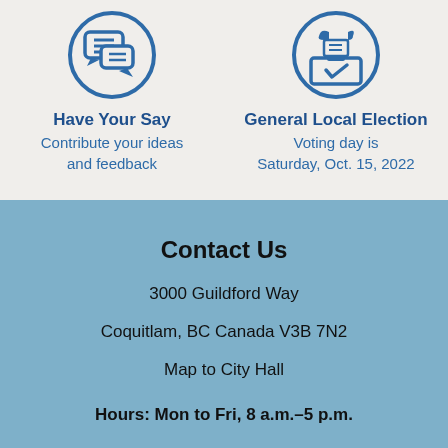[Figure (illustration): Blue circular icon with speech bubbles (chat/feedback icon)]
Have Your Say
Contribute your ideas and feedback
[Figure (illustration): Blue circular icon with hand placing ballot into ballot box]
General Local Election
Voting day is Saturday, Oct. 15, 2022
Contact Us
3000 Guildford Way
Coquitlam, BC Canada V3B 7N2
Map to City Hall
Hours: Mon to Fri, 8 a.m.–5 p.m.